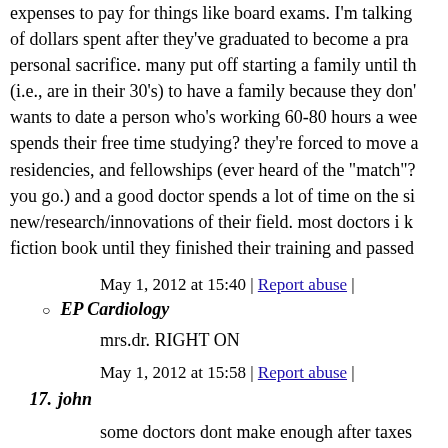expenses to pay for things like board exams. I'm talking of dollars spent after they've graduated to become a pra... personal sacrifice. many put off starting a family until th... (i.e., are in their 30's) to have a family because they don'... wants to date a person who's working 60-80 hours a wee... spends their free time studying? they're forced to move a... residencies, and fellowships (ever heard of the "match"?... you go.) and a good doctor spends a lot of time on the si... new/research/innovations of their field. most doctors i k... fiction book until they finished their training and passed...
May 1, 2012 at 15:40 | Report abuse |
EP Cardiology
mrs.dr. RIGHT ON
May 1, 2012 at 15:58 | Report abuse |
17. john
some doctors dont make enough after taxes
May 1, 2012 at 14:54 | Report abuse | Reply
18. Tina
Doctors are well compensated according to their specialty. I do... paid more or even less than what they are making. In addition...